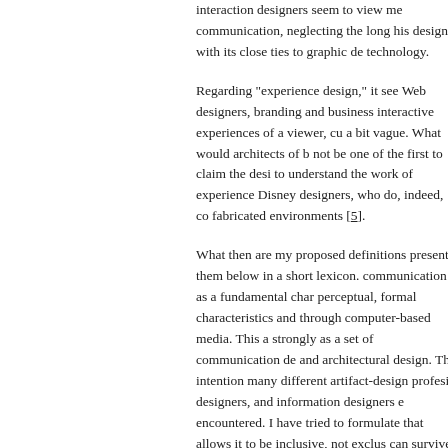interaction designers seem to view me communication, neglecting the long his design, with its close ties to graphic de technology.
Regarding "experience design," it see Web designers, branding and business interactive experiences of a viewer, cu a bit vague. What would architects of b not be one of the first to claim the desi to understand the work of experience Disney designers, who do, indeed, co fabricated environments [5].
What then are my proposed definitions present them below in a short lexicon. communication as a fundamental char perceptual, formal characteristics and through computer-based media. This a strongly as a set of communication de and architectural design. The intention many different artifact-design profesio designers, and information designers encountered. I have tried to formulate that allows it to be inclusive, not exclus can survive the rapid change of platfor computers and the rise of "smart" obi